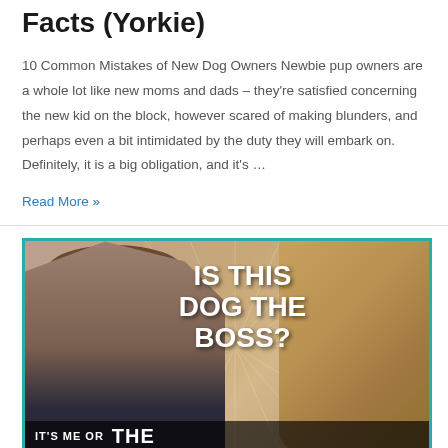Facts (Yorkie)
10 Common Mistakes of New Dog Owners Newbie pup owners are a whole lot like new moms and dads – they're satisfied concerning the new kid on the block, however scared of making blunders, and perhaps even a bit intimidated by the duty they will embark on. Definitely, it is a big obligation, and it's …
Read More »
[Figure (photo): Thumbnail image with a woman on the left with bangs looking surprised, a Yorkshire Terrier dog on the right, bold white text in center reading 'IS THIS DOG THE BOSS?', and a bottom bar with 'IT'S ME OR THE' text. Teal/cyan border around the image.]